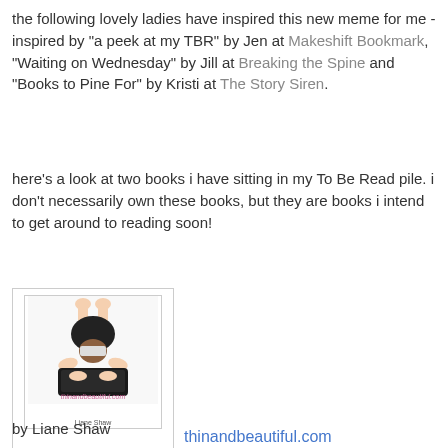the following lovely ladies have inspired this new meme for me - inspired by "a peek at my TBR" by Jen at Makeshift Bookmark, "Waiting on Wednesday" by Jill at Breaking the Spine and "Books to Pine For" by Kristi at The Story Siren.
here's a look at two books i have sitting in my To Be Read pile. i don't necessarily own these books, but they are books i intend to get around to reading soon!
[Figure (photo): Book cover of thinandbeautiful.com by Liane Shaw, showing a person viewed from above hunched over a laptop, with the title in pink italic text and author name below.]
thinandbeautiful.com
by Liane Shaw